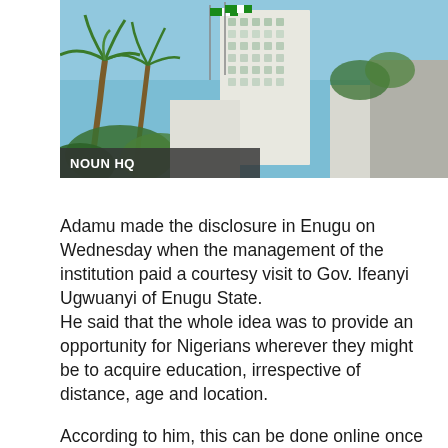[Figure (photo): Photo of NOUN HQ building with palm trees and Nigerian flags, blue sky background]
NOUN HQ
Adamu made the disclosure in Enugu on Wednesday when the management of the institution paid a courtesy visit to Gov. Ifeanyi Ugwuanyi of Enugu State.
He said that the whole idea was to provide an opportunity for Nigerians wherever they might be to acquire education, irrespective of distance, age and location.
According to him, this can be done online once there is Internet connection.
He explained that “the whole idea behind this is to help our fellow brothers and sisters